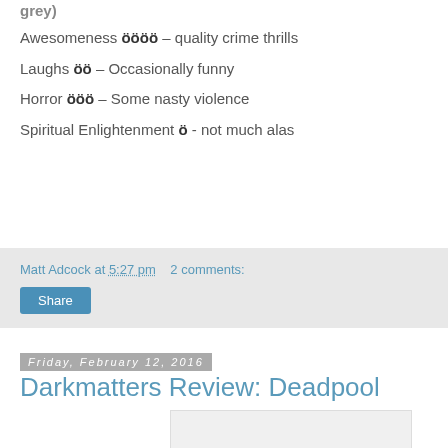grey)
Awesomeness öööö – quality crime thrills
Laughs öö – Occasionally funny
Horror ööö – Some nasty violence
Spiritual Enlightenment ö - not much alas
Matt Adcock at 5:27 pm   2 comments:
Share
Friday, February 12, 2016
Darkmatters Review: Deadpool
[Figure (photo): Image placeholder for Deadpool review]